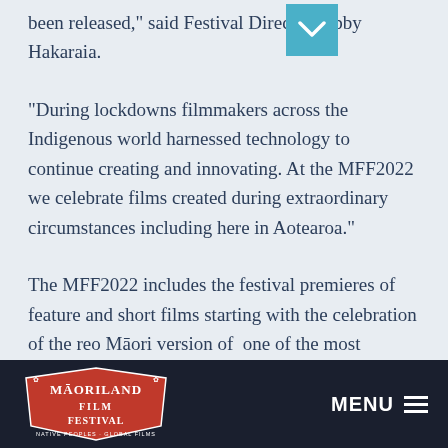been released," said Festival Director Libby Hakaraia.
“During lockdowns filmmakers across the Indigenous world harnessed technology to continue creating and innovating. At the MFF2022 we celebrate films created during extraordinary circumstances including here in Aotearoa.”
The MFF2022 includes the festival premieres of feature and short films starting with the celebration of the reo Māori version of  one of the most successful of all Disney films,
[Figure (other): Maoriland Film Festival logo in white and red on dark navy footer bar, with MENU and hamburger icon on the right]